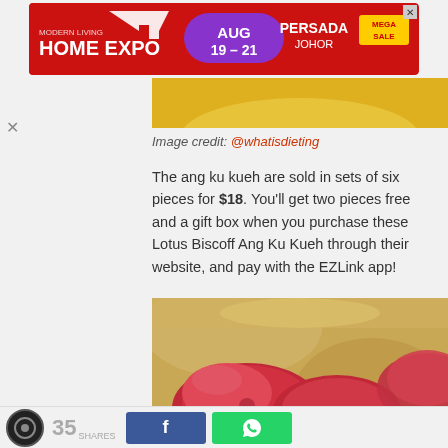[Figure (photo): Advertisement banner for Modern Living Home Expo, AUG 19-21, Persada Johor, Mega Sale]
[Figure (photo): Yellow background image strip, partial view]
Image credit: @whatisdieting
The ang ku kueh are sold in sets of six pieces for $18. You’ll get two pieces free and a gift box when you purchase these Lotus Biscoff Ang Ku Kueh through their website, and pay with the EZLink app!
[Figure (photo): Close-up photo of red/pink ang ku kueh (traditional Chinese pastry) on golden/yellow background]